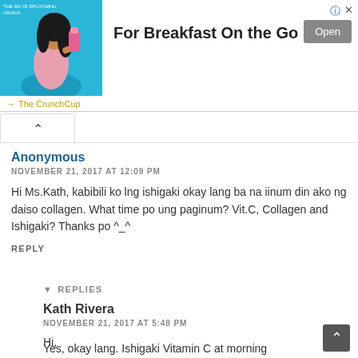[Figure (illustration): Advertisement banner: woman drinking from pink bottle on blue background, text 'For Breakfast On the Go', Open button, The CrunchCup brand]
Anonymous
NOVEMBER 21, 2017 AT 12:09 PM
Hi Ms.Kath, kabibili ko lng ishigaki okay lang ba na iinum din ako ng daiso collagen. What time po ung paginum? Vit.C, Collagen and Ishigaki? Thanks po ^_^
REPLY
REPLIES
Kath Rivera
NOVEMBER 21, 2017 AT 5:48 PM
Hi,
Yes, okay lang. Ishigaki Vitamin C at morning